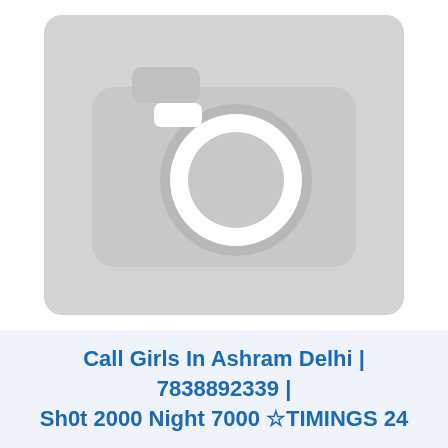[Figure (illustration): Gray placeholder image with a camera icon (white camera outline on light gray background), indicating a missing or unavailable photo.]
Call Girls In Ashram Delhi | 7838892339 | Sh0t 2000 Night 7000 ☆TIMINGS 24